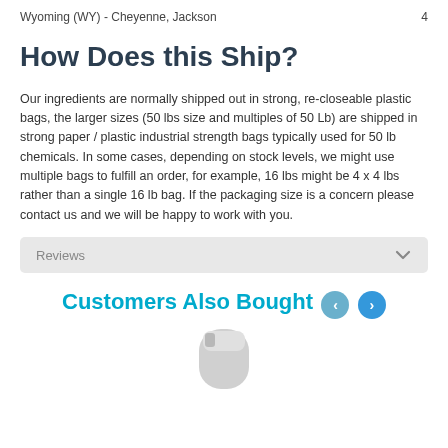Wyoming (WY) - Cheyenne, Jackson    4
How Does this Ship?
Our ingredients are normally shipped out in strong, re-closeable plastic bags, the larger sizes (50 lbs size and multiples of 50 Lb) are shipped in strong paper / plastic industrial strength bags typically used for 50 lb chemicals. In some cases, depending on stock levels, we might use multiple bags to fulfill an order, for example, 16 lbs might be 4 x 4 lbs rather than a single 16 lb bag. If the packaging size is a concern please contact us and we will be happy to work with you.
Reviews
Customers Also Bought
[Figure (photo): Partial product image visible at bottom of page]